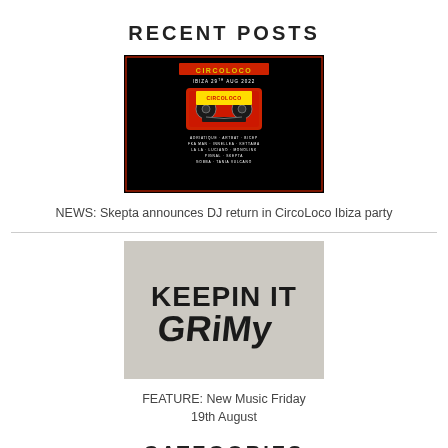RECENT POSTS
[Figure (photo): Circoloco Ibiza event flyer with red cassette tape logo, dark background, event date IBIZA 29th AUG 2022, listing DJs including Adriatique, Artbat, Bicep, Fka Mash, Innellea, Kettama, La La, Luciano, Monolink, Pignal, Skepta, Gobba, Tania Vulcano]
NEWS: Skepta announces DJ return in CircoLoco Ibiza party
[Figure (logo): Keepin It Grimy logo on grey textured background with bold graffiti-style lettering]
FEATURE: New Music Friday 19th August
CATEGORIES